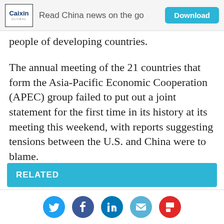Caixin Global — Read China news on the go — Download
people of developing countries.
The annual meeting of the 21 countries that form the Asia-Pacific Economic Cooperation (APEC) group failed to put out a joint statement for the first time in its history at its meeting this weekend, with reports suggesting tensions between the U.S. and China were to blame.
RELATED
Social share icons: Twitter, Facebook, LinkedIn, Email, Flipboard